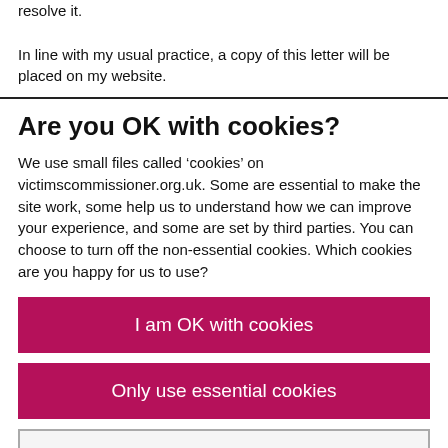resolve it.
In line with my usual practice, a copy of this letter will be placed on my website.
Are you OK with cookies?
We use small files called ‘cookies’ on victimscommissioner.org.uk. Some are essential to make the site work, some help us to understand how we can improve your experience, and some are set by third parties. You can choose to turn off the non-essential cookies. Which cookies are you happy for us to use?
I am OK with cookies
Only use essential cookies
Choose which cookies we use ›